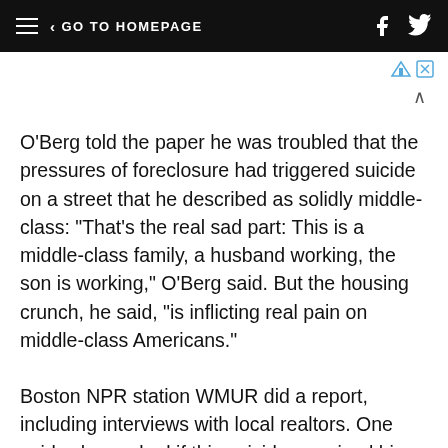GO TO HOMEPAGE
O'Berg told the paper he was troubled that the pressures of foreclosure had triggered suicide on a street that he described as solidly middle-class: "That's the real sad part: This is a middle-class family, a husband working, the son is working," O'Berg said. But the housing crunch, he said, "is inflicting real pain on middle-class Americans."
Boston NPR station WMUR did a report, including interviews with local realtors. One said, when asked if this suicide surprised him: "To be honest with you, no."